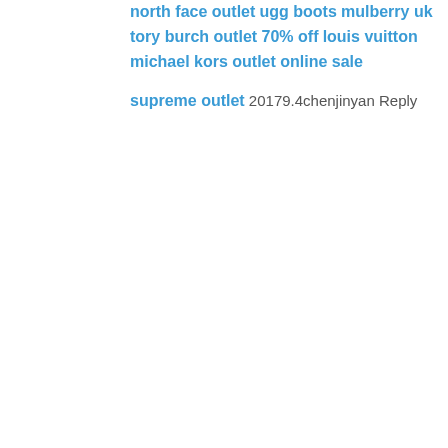north face outlet
ugg boots
mulberry uk
tory burch outlet 70% off
louis vuitton
michael kors outlet online sale
supreme outlet
20179.4chenjinyan
Reply
Foogle Packers and Movers  April 1, 2018 at 10:42 AM
Top 15 Packers and Movers
Top 15 Packers and Movers in Thane
Top 15 Packers and Movers in Noida
Top 15 Packers and Movers in Kolkata
Top 15 Packers and Movers in Faridabad
Top 15 Packers and Movers in Ghaziabad
Top 15 Packers and Movers in Chandigarh
Top 15 Packers and Movers in Navi Mumbai
Reply